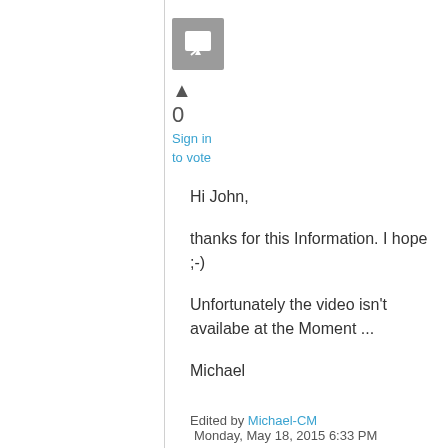[Figure (logo): Gray square icon with a speech bubble/comment symbol]
▲
0
Sign in to vote
Hi John,

thanks for this Information. I hope ;-)

Unfortunately the video isn't availabe at the Moment ...

Michael
Edited by Michael-CM Monday, May 18, 2015 6:33 PM